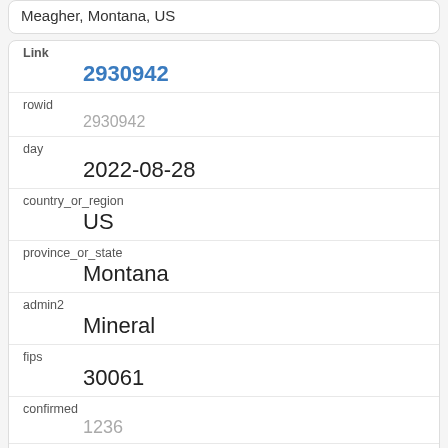Meagher, Montana, US
| Field | Value |
| --- | --- |
| Link | 2930942 |
| rowid | 2930942 |
| day | 2022-08-28 |
| country_or_region | US |
| province_or_state | Montana |
| admin2 | Mineral |
| fips | 30061 |
| confirmed | 1236 |
| deaths | 17 |
| recovered |  |